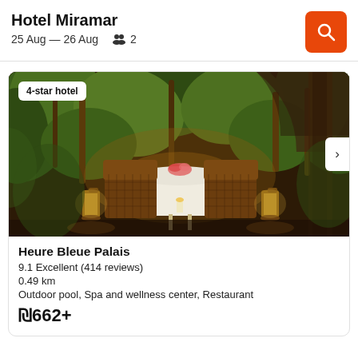Hotel Miramar
25 Aug — 26 Aug  2
[Figure (photo): Hotel garden/courtyard photo showing lush tropical plants, rattan chairs, a white-clothed table set for dining, and lanterns in warm evening light. Badge reads '4-star hotel'.]
Heure Bleue Palais
9.1 Excellent (414 reviews)
0.49 km
Outdoor pool, Spa and wellness center, Restaurant
₪662+